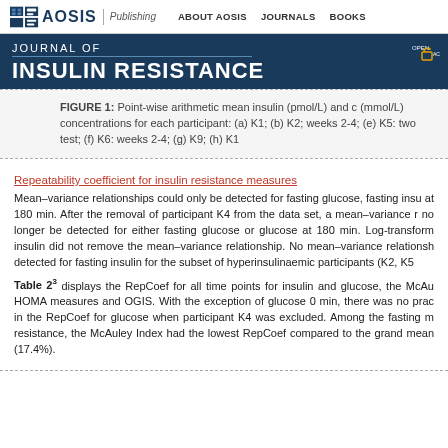AOSIS Publishing | ABOUT AOSIS | JOURNALS | BOOKS
JOURNAL OF INSULIN RESISTANCE
FIGURE 1: Point-wise arithmetic mean insulin (pmol/L) and c (mmol/L) concentrations for each participant: (a) K1; (b) K2; weeks 2-4; (e) K5: two test; (f) K6: weeks 2-4; (g) K9; (h) K1
Repeatability coefficient for insulin resistance measures
Mean–variance relationships could only be detected for fasting glucose, fasting insu at 180 min. After the removal of participant K4 from the data set, a mean–variance r no longer be detected for either fasting glucose or glucose at 180 min. Log-transform insulin did not remove the mean–variance relationship. No mean–variance relationsh detected for fasting insulin for the subset of hyperinsulinaemic participants (K2, K5
Table 2^3 displays the RepCoef for all time points for insulin and glucose, the McAu HOMA measures and OGIS. With the exception of glucose 0 min, there was no prac in the RepCoef for glucose when participant K4 was excluded. Among the fasting m resistance, the McAuley Index had the lowest RepCoef compared to the grand mean (17.4%).